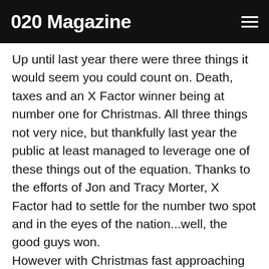020 Magazine
Up until last year there were three things it would seem you could count on. Death, taxes and an X Factor winner being at number one for Christmas. All three things not very nice, but thankfully last year the public at least managed to leverage one of these things out of the equation. Thanks to the efforts of Jon and Tracy Morter, X Factor had to settle for the number two spot and in the eyes of the nation...well, the good guys won. However with Christmas fast approaching this is no time to rest on our laurels, once again the spectre of something cheesy and unsatisfying riding at the top of the charts is an all too real possibility.